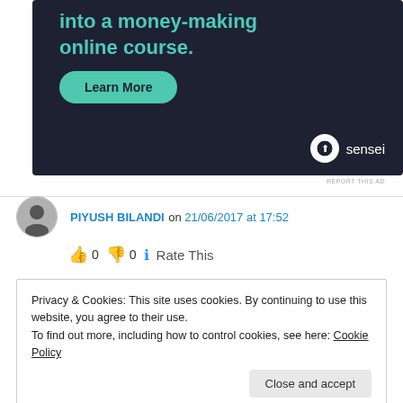[Figure (screenshot): Advertisement banner with dark background showing 'into a money-making online course.' headline in teal, a 'Learn More' button, and Sensei logo]
REPORT THIS AD
PIYUSH BILANDI on 21/06/2017 at 17:52
👍 0 👎 0 ℹ Rate This
Privacy & Cookies: This site uses cookies. By continuing to use this website, you agree to their use.
To find out more, including how to control cookies, see here: Cookie Policy
Close and accept
perfectly shows about the qualities of a blog.